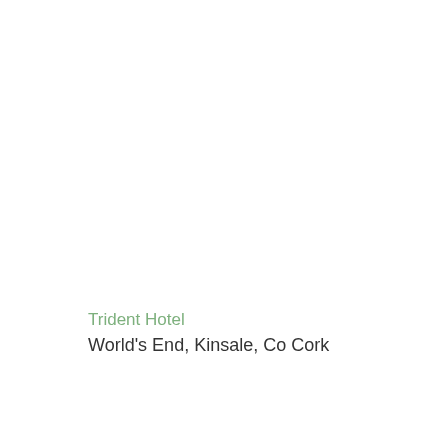Trident Hotel
World's End, Kinsale, Co Cork